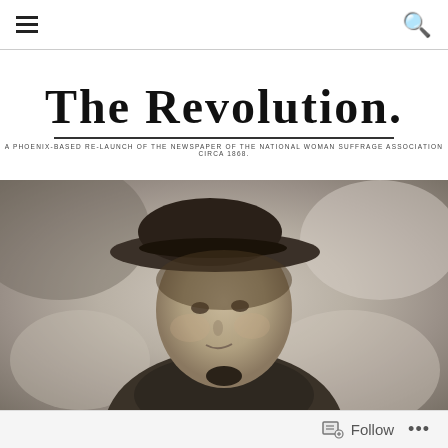Navigation menu and search icons
The Revolution.
A PHOENIX-BASED RE-LAUNCH OF THE NEWSPAPER OF THE NATIONAL WOMAN SUFFRAGE ASSOCIATION CIRCA 1868.
[Figure (photo): Sepia-toned vintage portrait photograph of a young woman wearing a wide-brimmed hat and dark jacket, shown from the shoulders up against a cloudy studio background.]
Follow  ...